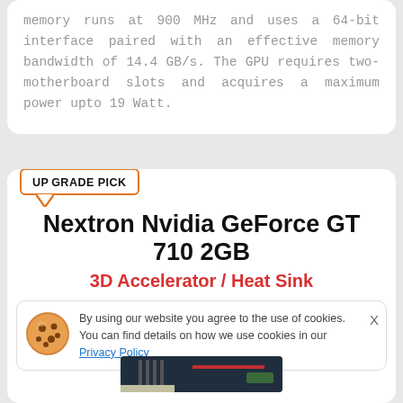memory runs at 900 MHz and uses a 64-bit interface paired with an effective memory bandwidth of 14.4 GB/s. The GPU requires two-motherboard slots and acquires a maximum power upto 19 Watt.
UPGRADE PICK
Nextron Nvidia GeForce GT 710 2GB
3D Accelerator / Heat Sink
By using our website you agree to the use of cookies. You can find details on how we use cookies in our Privacy Policy
[Figure (photo): Nextron Nvidia GeForce GT 710 2GB graphics card photo]